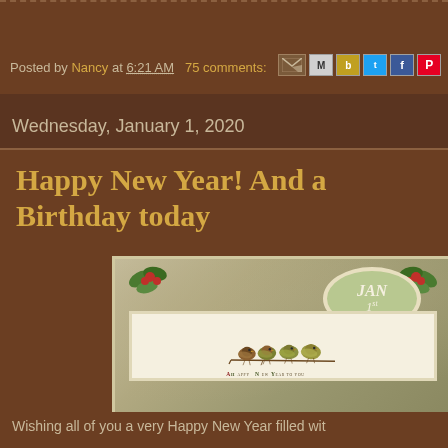Posted by Nancy at 6:21 AM  75 comments:
Wednesday, January 1, 2020
Happy New Year! And a Birthday today
[Figure (illustration): Vintage New Year postcard showing four birds perched on a branch in a decorative frame with holly, an oval badge reading 'JAN 1st', and text 'A Happy New Year To You']
Wishing all of you a very Happy New Year filled wit